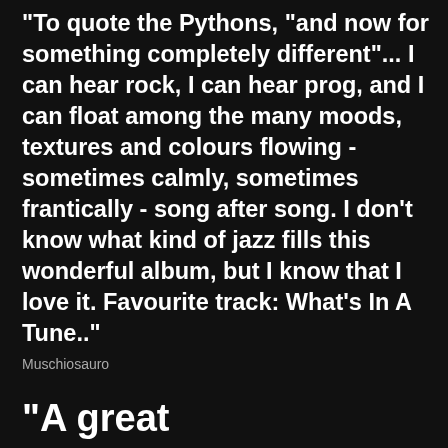"To quote the Pythons, "and now for something completely different"... I can hear rock, I can hear prog, and I can float among the many moods, textures and colours flowing - sometimes calmly, sometimes frantically - song after song. I don't know what kind of jazz fills this wonderful album, but I know that I love it. Favourite track: What's In A Tune.."
Muschiosauro
"A great